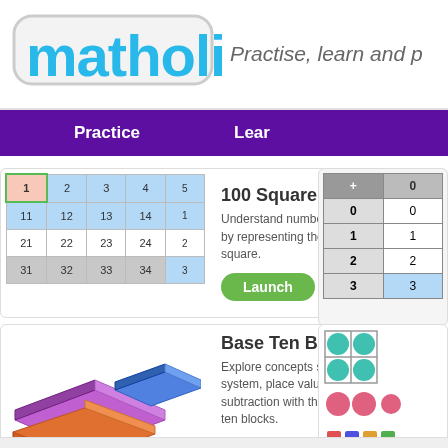[Figure (logo): Matholia logo with light blue rounded bubbly text on white background with gray border]
Practise, learn and p
Practice
Lear
100 Square
Understand number patterns visually by representing them in this virtual 100 square.
[Figure (table-as-image): Mini 100-square grid showing numbers 1-5, 11-15, 21-25, 31-35 with blue and pink highlighted cells]
Launch
[Figure (table-as-image): Addition table showing + 0 in header, rows 0-3 with column 0 values]
Base Ten Blocks
Explore concepts such as the base ten system, place value, addition and subtraction with this set of virtual base ten blocks.
[Figure (illustration): 3D isometric base ten blocks: large flat purple square, blue flat rectangle, orange flat rectangle, yellow/green rods, small teal cubes]
Launch
[Figure (illustration): Counters panel showing teal and pink circular counters in grid, with colorful square counters below]